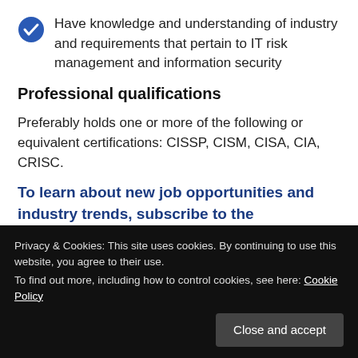Have knowledge and understanding of industry and requirements that pertain to IT risk management and information security
Professional qualifications
Preferably holds one or more of the following or equivalent certifications: CISSP, CISM, CISA, CIA, CRISC.
To learn about new job opportunities and industry trends, subscribe to the
Privacy & Cookies: This site uses cookies. By continuing to use this website, you agree to their use.
To find out more, including how to control cookies, see here: Cookie Policy